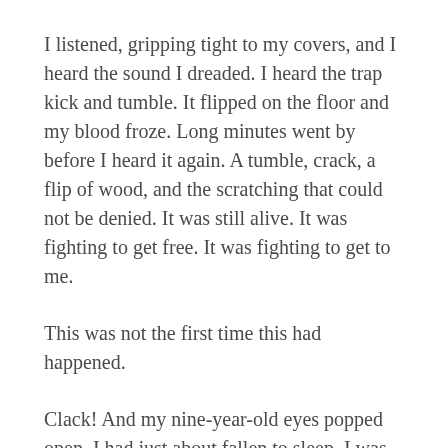I listened, gripping tight to my covers, and I heard the sound I dreaded. I heard the trap kick and tumble. It flipped on the floor and my blood froze. Long minutes went by before I heard it again. A tumble, crack, a flip of wood, and the scratching that could not be denied. It was still alive. It was fighting to get free. It was fighting to get to me.
This was not the first time this had happened.
Clack! And my nine-year-old eyes popped open. I had just about fallen to sleep. I was almost out. Had I been out, the snap of that trap would not have woken me. But I was awake. I tensed up around the